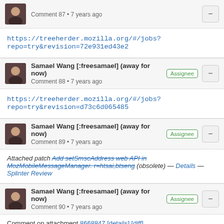Comment 87 • 7 years ago
https://treeherder.mozilla.org/#/jobs?repo=try&revision=72e931ed43e2
Samael Wang [:freesamael] (away for now) Assignee
Comment 88 • 7 years ago
https://treeherder.mozilla.org/#/jobs?repo=try&revision=d73c6d065485
Samael Wang [:freesamael] (away for now) Assignee
Comment 89 • 7 years ago
Attached patch Add setSmscAddress web API in MozMobileMessageManager. r=htsai,btseng (obsolete) — Details — Splinter Review
Samael Wang [:freesamael] (away for now) Assignee
Comment 90 • 7 years ago
Comment on attachment 8668847 [details] [diff]